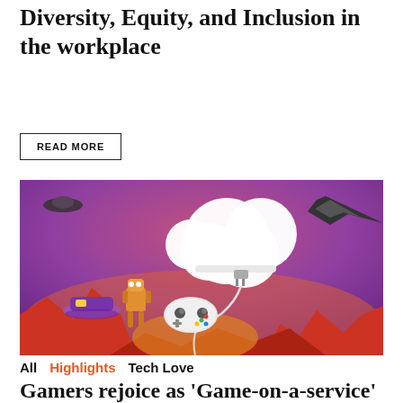Learn how organisations commit to Diversity, Equity, and Inclusion in the workplace
READ MORE
[Figure (illustration): Colorful sci-fi illustration showing a large white cloud plugged into a game controller, with a robot character, hovering spaceship, and red alien landscape in the background. A dark stealth aircraft flies at upper right.]
All  Highlights  Tech Love
Gamers rejoice as 'Game-on-a-service'